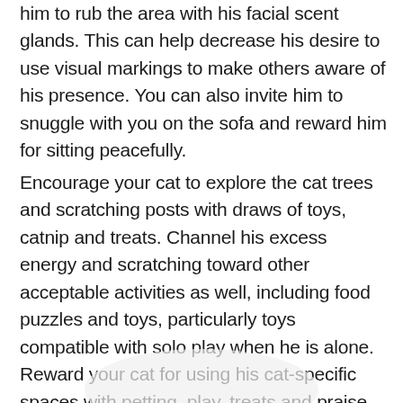him to rub the area with his facial scent glands. This can help decrease his desire to use visual markings to make others aware of his presence. You can also invite him to snuggle with you on the sofa and reward him for sitting peacefully.
Encourage your cat to explore the cat trees and scratching posts with draws of toys, catnip and treats. Channel his excess energy and scratching toward other acceptable activities as well, including food puzzles and toys, particularly toys compatible with solo play when he is alone. Reward your cat for using his cat-specific spaces with petting, play, treats and praise.